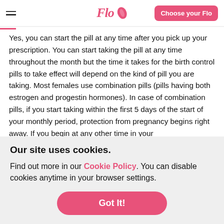Flo — Choose your Flo
Yes, you can start the pill at any time after you pick up your prescription. You can start taking the pill at any time throughout the month but the time it takes for the birth control pills to take effect will depend on the kind of pill you are taking. Most females use combination pills (pills having both estrogen and progestin hormones). In case of combination pills, if you start taking within the first 5 days of the start of your monthly period, protection from pregnancy begins right away. If you begin at any other time in your
Our site uses cookies.
Find out more in our Cookie Policy. You can disable cookies anytime in your browser settings.
Got It!